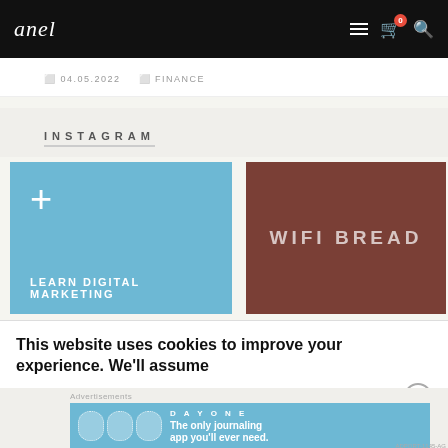Navigation bar with logo and icons
04.05.2022 | FINANCE
INSTAGRAM
[Figure (illustration): Blue card with plus sign and text LEARN DIGITAL MARKETING]
[Figure (illustration): Brown card with text WIFI BREAD]
This website uses cookies to improve your experience. We'll assume
[Figure (screenshot): Advertisement banner for DAY ONE journaling app: 'The only journaling app you'll ever need.']